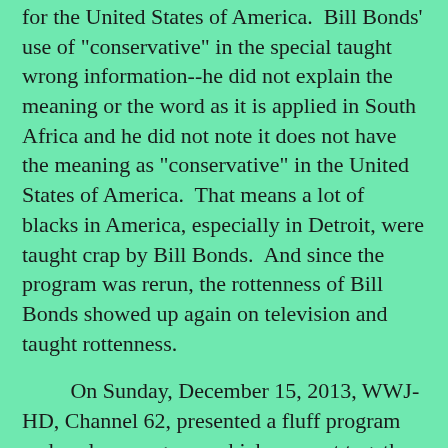for the United States of America. Bill Bonds' use of "conservative" in the special taught wrong information--he did not explain the meaning or the word as it is applied in South Africa and he did not note it does not have the meaning as "conservative" in the United States of America. That means a lot of blacks in America, especially in Detroit, were taught crap by Bill Bonds. And since the program was rerun, the rottenness of Bill Bonds showed up again on television and taught rottenness.
On Sunday, December 15, 2013, WWJ-HD, Channel 62, presented a fluff program and useless program, which was put together by the station, and it was hosted by Carol Cain (who received a "senior producer" credit). The program was called Eye on Detroit: Detroit's Next Chapter, and it ran for thirty minutes with commercials (one of which was a commercial for Geoffrey Feiger's law firm). The show was a collection of